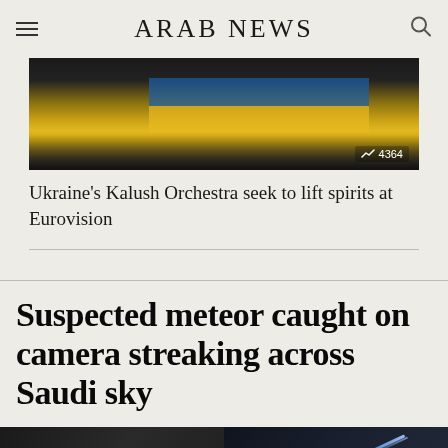ARAB NEWS
[Figure (photo): Image of Ukraine's Kalush Orchestra with a yellow and blue Ukrainian flag, with a trending counter showing 4364]
Ukraine’s Kalush Orchestra seek to lift spirits at Eurovision
Suspected meteor caught on camera streaking across Saudi sky
[Figure (photo): Two split images at the bottom of the page related to the meteor story — left shows a dark scene, right shows a dark sky with a blue light streak]